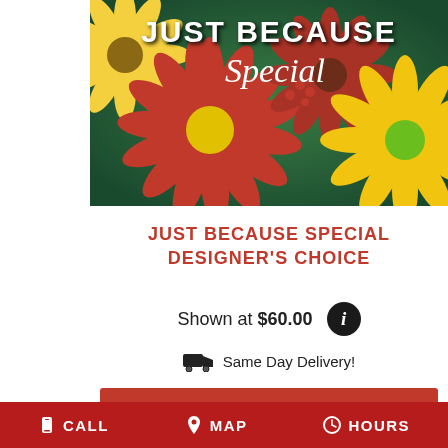[Figure (photo): Close-up photo of red and yellow daisy/gerbera flowers with a 'JUST BECAUSE Special' text overlay on a green floral background]
JUST BECAUSE SPECIAL DESIGNER'S CHOICE
Shown at $60.00
Same Day Delivery!
BUY NOW
CALL  MAP  HOURS